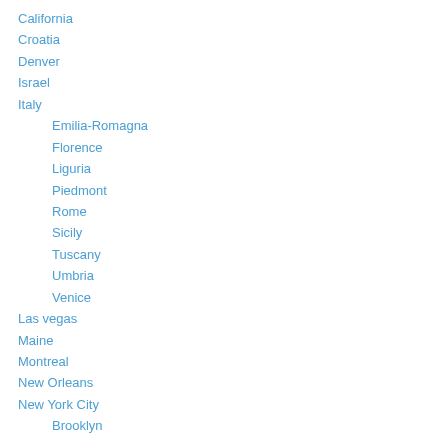California
Croatia
Denver
Israel
Italy
Emilia-Romagna
Florence
Liguria
Piedmont
Rome
Sicily
Tuscany
Umbria
Venice
Las vegas
Maine
Montreal
New Orleans
New York City
Brooklyn